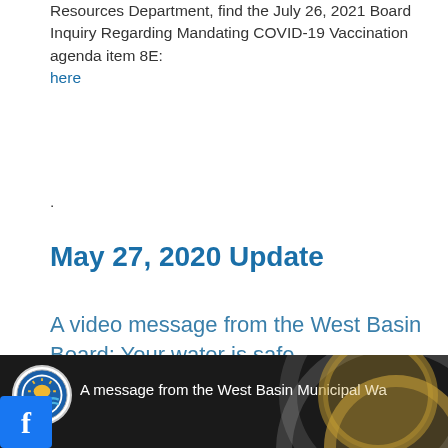Resources Department, find the July 26, 2021 Board Inquiry Regarding Mandating COVID-19 Vaccination agenda item 8E:
here
.
May 27, 2020 Update
A video message from the West Basin Board: Your water is safe.
[Figure (screenshot): Video thumbnail showing West Basin Municipal Water District logo and the text 'A message from the West Basin Municipal Wa...' on a dark background, with a Facebook icon overlay in the bottom-left corner.]